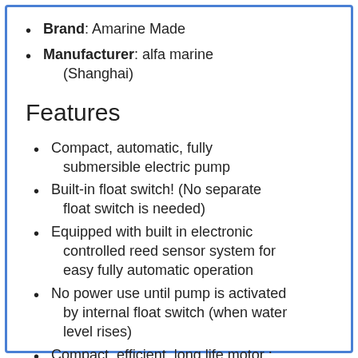Brand: Amarine Made
Manufacturer: alfa marine (Shanghai)
Features
Compact, automatic, fully submersible electric pump
Built-in float switch! (No separate float switch is needed)
Equipped with built in electronic controlled reed sensor system for easy fully automatic operation
No power use until pump is activated by internal float switch (when water level rises)
Compact, efficient, long life motor ;